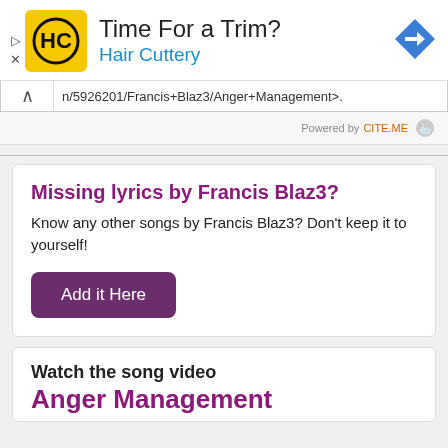[Figure (screenshot): Advertisement banner for Hair Cuttery with logo, 'Time For a Trim?' text, navigation arrow icon, and ad close controls]
n/5926201/Francis+Blaz3/Anger+Management>.
Powered by CITE.ME
Missing lyrics by Francis Blaz3?
Know any other songs by Francis Blaz3? Don't keep it to yourself!
Add it Here
Watch the song video
Anger Management